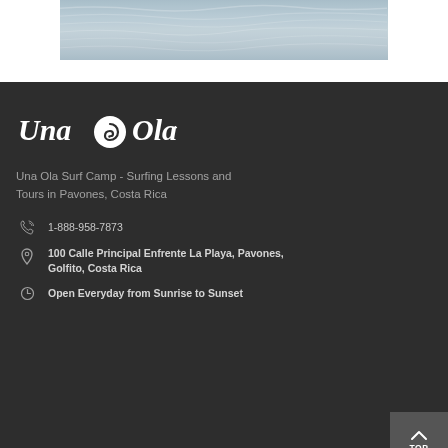[Figure (photo): Ocean/water surface photo showing waves, muted blue-grey tones, cropped to a wide banner strip at top of page]
[Figure (logo): Una Ola logo in white handwritten/script style text with a spiral wave graphic between 'Una' and 'Ola' on dark background]
Una Ola Surf Camp - Surfing Lessons and Tours in Pavones, Costa Rica
1-888-958-7873
100 Calle Principal Enfrente La Playa, Pavones, Golfito, Costa Rica
Open Everyday from Sunrise to Sunset